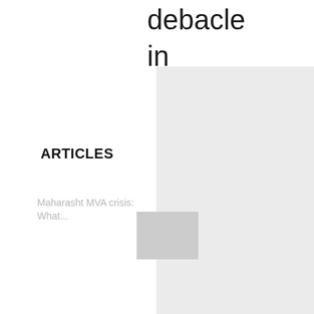debacle
in
ARTICLES
Maharasht MVA crisis: What...
[Figure (photo): Thumbnail image placeholder for Maharashtra MVA crisis article]
Amrita Hospital, Faridabad: Bringing...
[Figure (photo): Thumbnail image placeholder for Amrita Hospital article]
Mumbai: BMC imparts life-savin...
[Figure (photo): Thumbnail image placeholder for Mumbai BMC article]
his
fears.
"It
was
clear
that